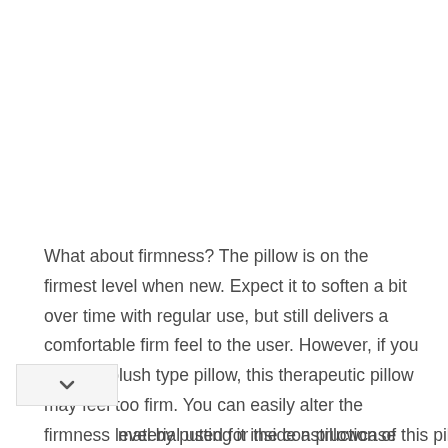What about firmness? The pillow is on the firmest level when new. Expect it to soften a bit over time with regular use, but still delivers a comfortable firm feel to the user. However, if you prefer a plush type pillow, this therapeutic pillow may feel too firm. You can easily alter the firmness level by putting it inside a pillowcase and repeatedly stepping the pillow up and down. This action will eventually soften the pillow.
material used for the construction of this pillow is non-toxic